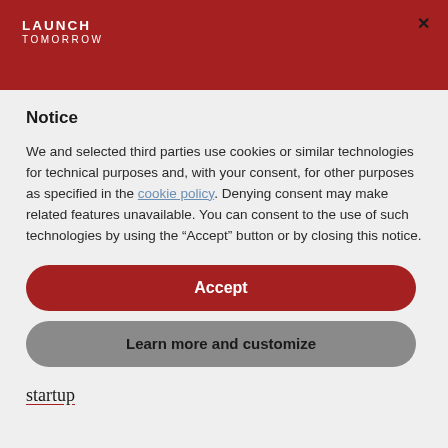LAUNCH TOMORROW
Notice
We and selected third parties use cookies or similar technologies for technical purposes and, with your consent, for other purposes as specified in the cookie policy. Denying consent may make related features unavailable. You can consent to the use of such technologies by using the “Accept” button or by closing this notice.
Accept
Learn more and customize
startup